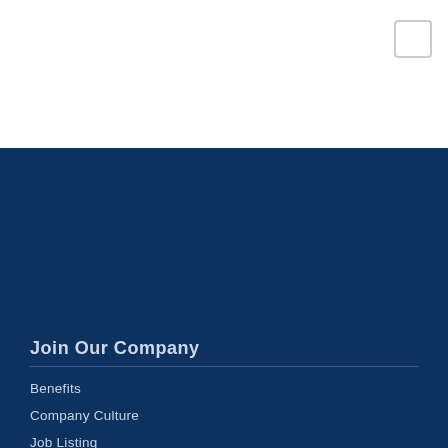[Figure (other): White header area with a small square icon button in the top right corner]
Join Our Company
Benefits
Company Culture
Job Listing
Veterans
Internship Program
Recruiting Events
EEO is the Law